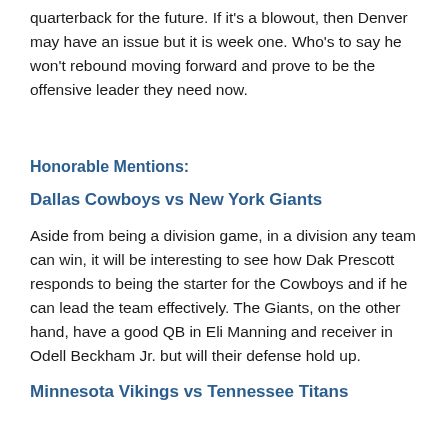quarterback for the future. If it's a blowout, then Denver may have an issue but it is week one. Who's to say he won't rebound moving forward and prove to be the offensive leader they need now.
Honorable Mentions:
Dallas Cowboys vs New York Giants
Aside from being a division game, in a division any team can win, it will be interesting to see how Dak Prescott responds to being the starter for the Cowboys and if he can lead the team effectively. The Giants, on the other hand, have a good QB in Eli Manning and receiver in Odell Beckham Jr. but will their defense hold up.
Minnesota Vikings vs Tennessee Titans